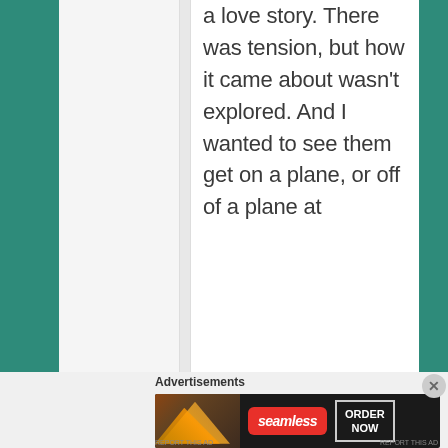a love story. There was tension, but how it came about wasn't explored. And I wanted to see them get on a plane, or off of a plane at
Advertisements
[Figure (other): Seamless food delivery advertisement banner showing pizza slices on dark background with Seamless logo and ORDER NOW button]